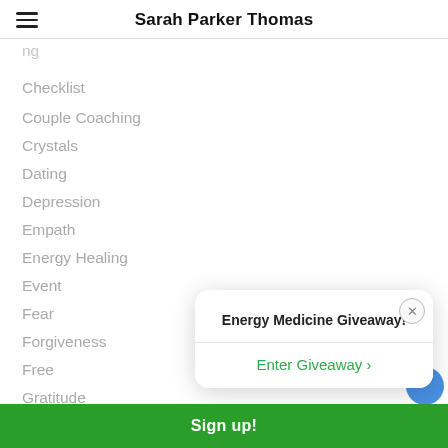Sarah Parker Thomas
(partially visible top item)
Checklist
Couple Coaching
Crystals
Dating
Depression
Empath
Energy Healing
Event
Fear
Forgiveness
Free
Gratitude
Grief
Inner Guidance
Intuition
[Figure (screenshot): Popup modal with title 'Energy Medicine Giveaway!' and green 'Enter Giveaway >' button]
Sign up!